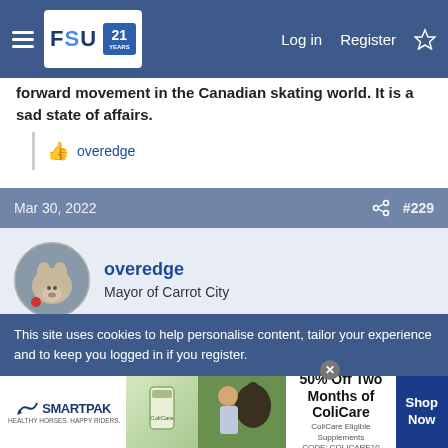FSU forum navigation bar with Log in, Register links
forward movement in the Canadian skating world. It is a sad state of affairs.
👍 overedge
Mar 30, 2022  #229
overedge
Mayor of Carrot City
William said: ↑
This site uses cookies to help personalise content, tailor your experience and to keep you logged in if you register.
[Figure (screenshot): SmartPak advertisement banner: 50% Off Two Months of ColiCare, ColiCare Eligible Supplements, CODE: COLICARE10, Shop Now button]